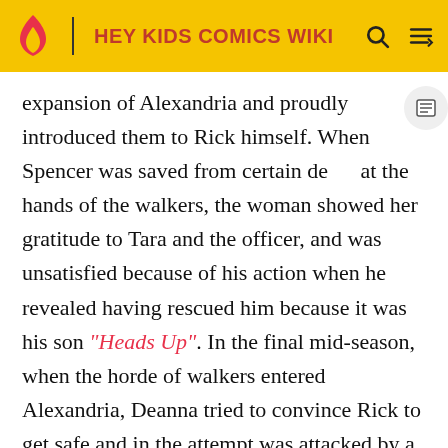HEY KIDS COMICS WIKI
expansion of Alexandria and proudly introduced them to Rick himself. When Spencer was saved from certain death at the hands of the walkers, the woman showed her gratitude to Tara and the officer, and was unsatisfied because of his action when he revealed having rescued him because it was his son "Heads Up". In the final mid-season, when the horde of walkers entered Alexandria, Deanna tried to convince Rick to get safe and in the attempt was attacked by a walker. Fortunately the officer intervention ended up helping and everyone got safe by locking themselves inside Jessie's house. Seriously injured, the woman was treated by Michonne, who discovered that she had been bitten by one of the walkers. In her last moments Deanna gave hope to